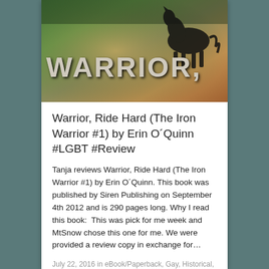[Figure (illustration): Book cover for 'Warrior, Ride Hard' showing the word WARRIOR in large white distressed text with a comma below it, set against a background of earthy tones with a dark horse silhouette in the upper right]
Warrior, Ride Hard (The Iron Warrior #1) by Erin O´Quinn #LGBT #Review
Tanja reviews Warrior, Ride Hard (The Iron Warrior #1) by Erin O´Quinn. This book was published by Siren Publishing on September 4th 2012 and is 290 pages long. Why I read this book:  This was pick for me week and MtSnow chose this one for me. We were provided a review copy in exchange for…
July 22, 2016 in eBook/Paperback, Gay, Historical, LGBT, More Than 250 Pages, Review, Series, Siren Publishing, Uncategorized.